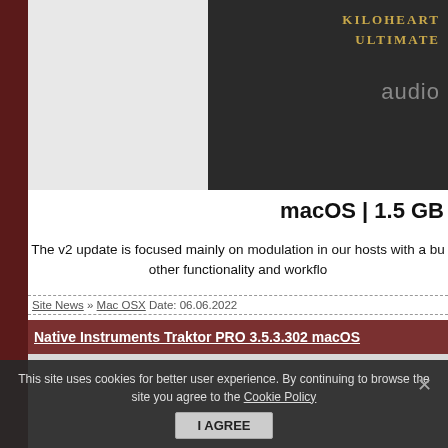[Figure (photo): Dark product box with KILOHEART ULTIMATE text in gold, partially visible 'audio' watermark text on right side]
macOS | 1.5 GB
The v2 update is focused mainly on modulation in our hosts with a bu other functionality and workflo
Site News » Mac OSX Date: 06.06.2022
Native Instruments Traktor PRO 3.5.3.302 macOS
[Figure (screenshot): Traktor PRO application icon - red rounded square with white/red target/crosshair design and yellow triangle play button]
This site uses cookies for better user experience. By continuing to browse the site you agree to the Cookie Policy
I AGREE